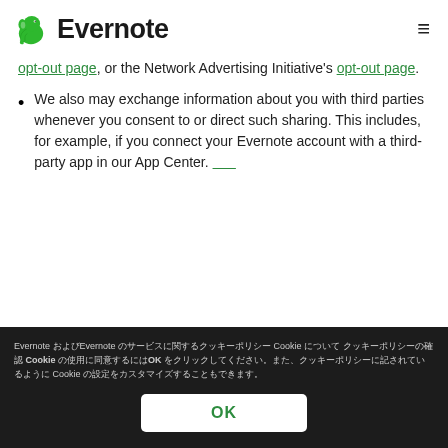Evernote
opt-out page, or the Network Advertising Initiative's opt-out page.
We also may exchange information about you with third parties whenever you consent to or direct such sharing. This includes, for example, if you connect your Evernote account with a third-party app in our App Center. [link]
Evernote およびEvernote のサービスに関するクッキーポリシー Cookie について クッキーポリシーの確認 Cookie の使用に同意するにはOK をクリックしてください。また、クッキーポリシーに記されているように Cookie の設定をカスタマイズすることもできます。